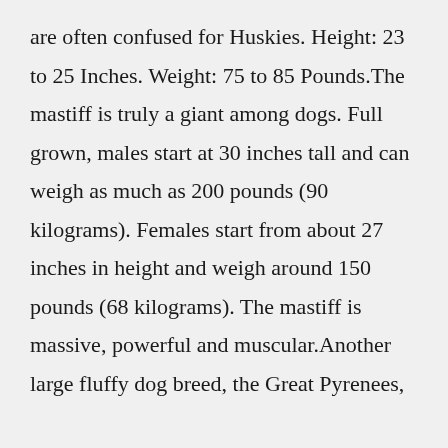are often confused for Huskies. Height: 23 to 25 Inches. Weight: 75 to 85 Pounds.The mastiff is truly a giant among dogs. Full grown, males start at 30 inches tall and can weigh as much as 200 pounds (90 kilograms). Females start from about 27 inches in height and weigh around 150 pounds (68 kilograms). The mastiff is massive, powerful and muscular.Another large fluffy dog breed, the Great Pyrenees,